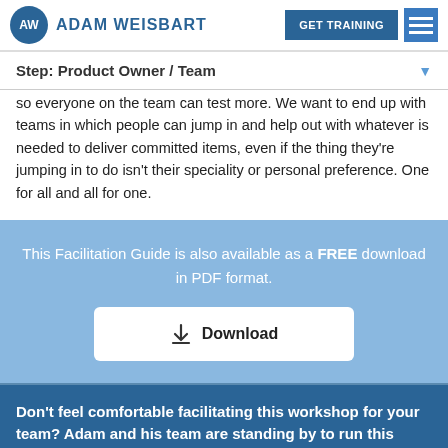AW ADAM WEISBART | GET TRAINING
Step: Product Owner / Team
so everyone on the team can test more. We want to end up with teams in which people can jump in and help out with whatever is needed to deliver committed items, even if the thing they're jumping in to do isn't their speciality or personal preference. One for all and all for one.
This Facilitation Guide is also available as a FREE download in PDF format.
Download
Don't feel comfortable facilitating this workshop for your team? Adam and his team are standing by to run this